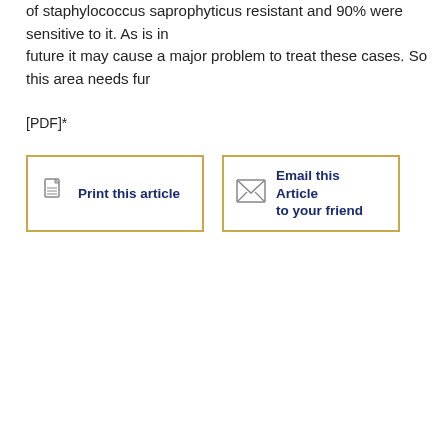of staphylococcus saprophyticus resistant and 90% were sensitive to it. As is in future it may cause a major problem to treat these cases. So this area needs fur
[PDF]*
[Figure (other): Print this article button with document icon, bordered in gold/yellow]
[Figure (other): Email this Article to your friend button with envelope icon, bordered in gold/yellow]